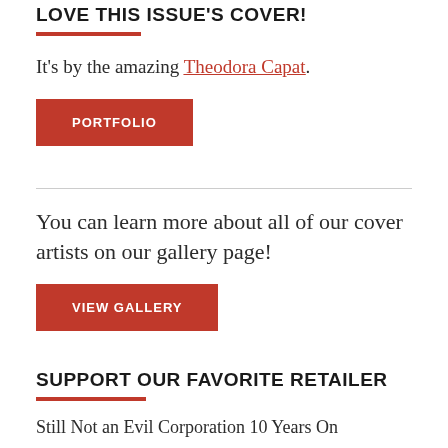LOVE THIS ISSUE'S COVER!
It's by the amazing Theodora Capat.
PORTFOLIO
You can learn more about all of our cover artists on our gallery page!
VIEW GALLERY
SUPPORT OUR FAVORITE RETAILER
Still Not an Evil Corporation 10 Years On